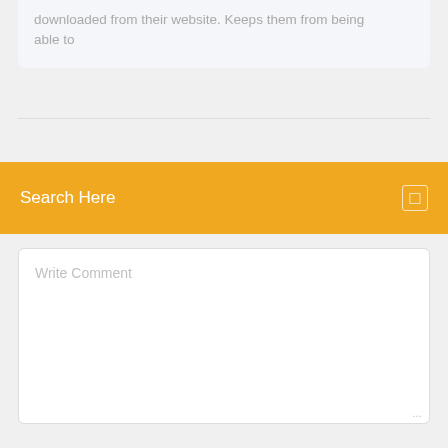downloaded from their website. Keeps them from being able to
Search Here
Write Comment